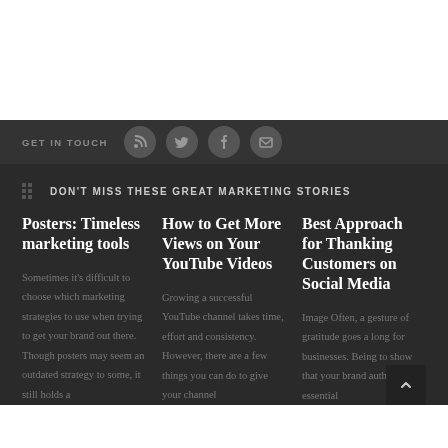GET IN TOUCH
DON'T MISS THESE GREAT MARKETING STORIES
Posters: Timeless marketing tools
Sometimes it's difficult to choose which marketing strategies to use when trying to get your brand out there. Though posters may seem an outdated strategy to some, it still holds a
How to Get More Views on Your YouTube Videos
Growing a successful YouTube channel takes time, effort and consistency. However, there are a few things you can do to give your channel
Best Approach for Thanking Customers on Social Media
Image Often, a gesture of gratitude goes a long for businesses. Being to show that your brand authentic is essential